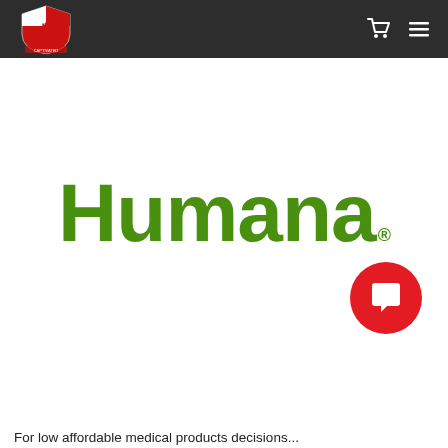[Figure (logo): Navigation bar with a heraldic crest/shield logo on the left and cart and hamburger menu icons on the right, on dark background]
[Figure (logo): Humana wordmark in bold green text with registered trademark symbol]
[Figure (other): Red circular chat/message button in bottom right corner]
For low affordable medical products decisions...